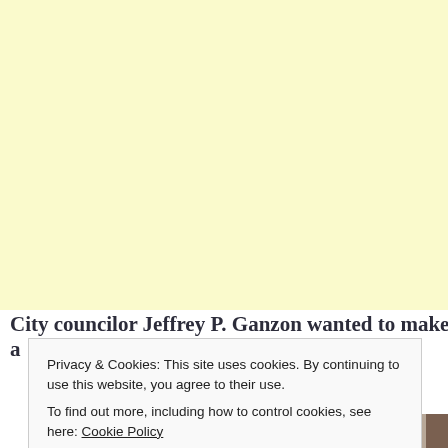[Figure (photo): Yellow/cream background area taking up upper portion of the page]
City councilor Jeffrey P. Ganzon wanted to make a
Privacy & Cookies: This site uses cookies. By continuing to use this website, you agree to their use. To find out more, including how to control cookies, see here: Cookie Policy
[Figure (photo): Partial photo of a person visible at the bottom of the page]